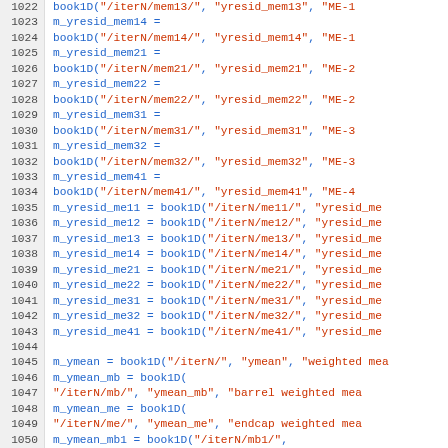Source code listing, lines 1022–1051, showing book1D memory and ymean variable assignments in a scientific simulation codebase.